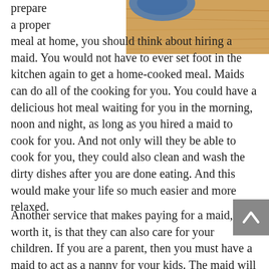[Figure (photo): Partial photo of food on a wooden surface/table, visible in top-right corner of the page]
prepare a proper meal at home, you should think about hiring a maid. You would not have to ever set foot in the kitchen again to get a home-cooked meal. Maids can do all of the cooking for you. You could have a delicious hot meal waiting for you in the morning, noon and night, as long as you hired a maid to cook for you. And not only will they be able to cook for you, they could also clean and wash the dirty dishes after you are done eating. And this would make your life so much easier and more relaxed.
Another service that makes paying for a maid, worth it, is that they can also care for your children. If you are a parent, then you must have a maid to act as a nanny for your kids. The maid will make sure that your kids are provided with care for the whole day. This could be especially useful if you have got to work a job and cannot be there for your children. You could just go